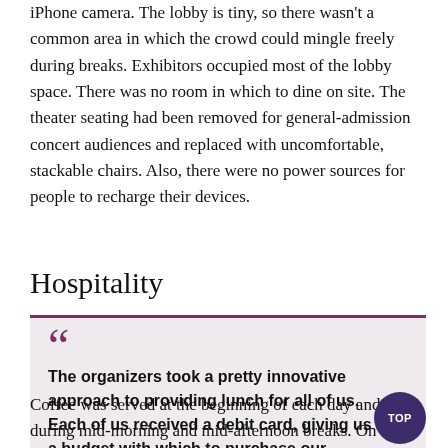iPhone camera. The lobby is tiny, so there wasn't a common area in which the crowd could mingle freely during breaks. Exhibitors occupied most of the lobby space. There was no room in which to dine on site. The theater seating had been removed for general-admission concert audiences and replaced with uncomfortable, stackable chairs. Also, there were no power sources for people to recharge their devices.
Hospitality
The organizers took a pretty innovative approach to providing lunch for all of us. Each of us received a debit card, giving us a budget with which to purchase our lunch....
Coffee was served at the beginning of each day and during mid-morning and mid-afternoon breaks. On the